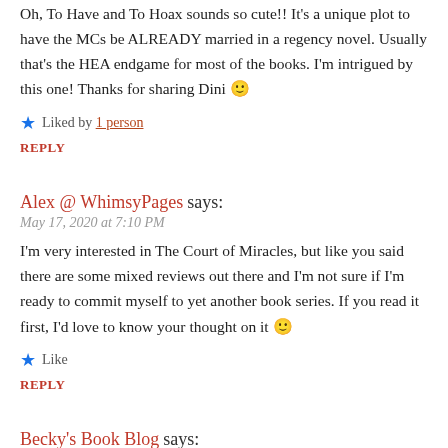Oh, To Have and To Hoax sounds so cute!! It's a unique plot to have the MCs be ALREADY married in a regency novel. Usually that's the HEA endgame for most of the books. I'm intrigued by this one! Thanks for sharing Dini 🙂
Liked by 1 person
REPLY
Alex @ WhimsyPages says:
May 17, 2020 at 7:10 PM
I'm very interested in The Court of Miracles, but like you said there are some mixed reviews out there and I'm not sure if I'm ready to commit myself to yet another book series. If you read it first, I'd love to know your thought on it 🙂
Like
REPLY
Becky's Book Blog says: